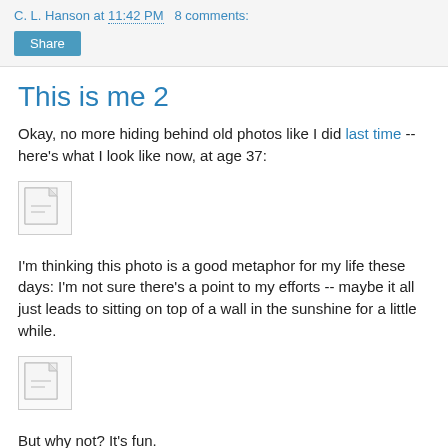C. L. Hanson at 11:42 PM   8 comments:
Share
This is me 2
Okay, no more hiding behind old photos like I did last time -- here's what I look like now, at age 37:
[Figure (photo): Broken/missing image placeholder (small icon with torn corner)]
I'm thinking this photo is a good metaphor for my life these days: I'm not sure there's a point to my efforts -- maybe it all just leads to sitting on top of a wall in the sunshine for a little while.
[Figure (photo): Broken/missing image placeholder (small icon with torn corner)]
But why not? It's fun.